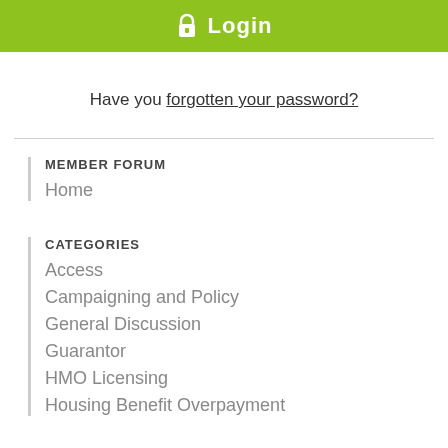Login
Have you forgotten your password?
MEMBER FORUM
Home
CATEGORIES
Access
Campaigning and Policy
General Discussion
Guarantor
HMO Licensing
Housing Benefit Overpayment